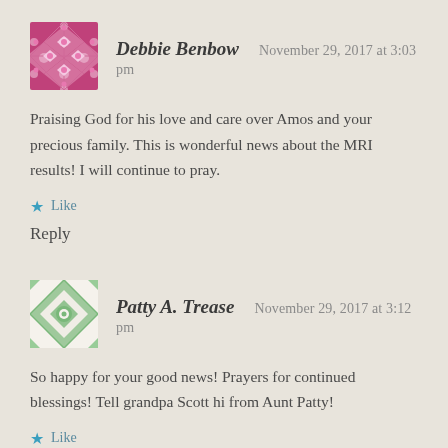[Figure (illustration): Pink/magenta quilted diamond pattern avatar for Debbie Benbow]
Debbie Benbow   November 29, 2017 at 3:03 pm
Praising God for his love and care over Amos and your precious family. This is wonderful news about the MRI results! I will continue to pray.
Like
Reply
[Figure (illustration): Green and white quilted diamond pattern avatar for Patty A. Trease]
Patty A. Trease   November 29, 2017 at 3:12 pm
So happy for your good news! Prayers for continued blessings! Tell grandpa Scott hi from Aunt Patty!
Like